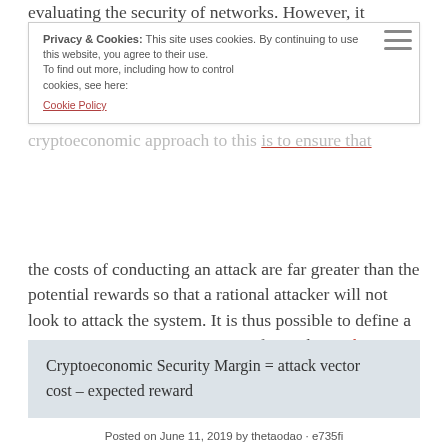evaluating the security of networks. However, it should be noted that all systems have at least some vulnerabilities and given enough time and resources, an attacker will always be able to accept some level of damage to the network. The cryptoeconomic approach to this is to ensure that the costs of conducting an attack are far greater than the potential rewards so that a rational attacker will not look to attack the system. It is thus possible to define a cryptoeconomic security margin for each attack vector:
Privacy & Cookies: This site uses cookies. By continuing to use this website, you agree to their use. To find out more, including how to control cookies, see here: Cookie Policy
Posted on June 11, 2019 by thetaodao · e735fi